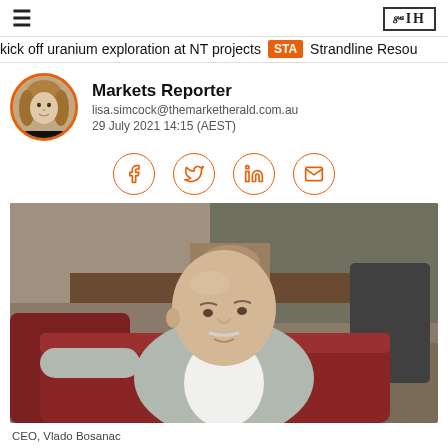≡   ЗІН
kick off uranium exploration at NT projects   STA  Strandline Resou
Markets Reporter
lisa.simcock@themarketherald.com.au
29 July 2021 14:15 (AEST)
[Figure (photo): Circular portrait photo of a woman with blonde wavy hair, wearing black, with an orange circular border]
[Figure (photo): Photo of CEO Vlado Bosanac, a bald man with a white moustache wearing a grey blazer and white shirt, seated in a leather chair in an office setting]
CEO, Vlado Bosanac
Source: AHI